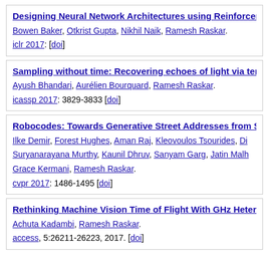Designing Neural Network Architectures using Reinforcement Learning. Bowen Baker, Otkrist Gupta, Nikhil Naik, Ramesh Raskar. iclr 2017: [doi]
Sampling without time: Recovering echoes of light via temporal phase retrieval. Ayush Bhandari, Aurélien Bourquard, Ramesh Raskar. icassp 2017: 3829-3833 [doi]
Robocodes: Towards Generative Street Addresses from Satellite Imagery. Ilke Demir, Forest Hughes, Aman Raj, Kleovoulos Tsourides, Divvela Suryanarayana Murthy, Kaunil Dhruv, Sanyam Garg, Jatin Malhotra, Grace Kermani, Ramesh Raskar. cvpr 2017: 1486-1495 [doi]
Rethinking Machine Vision Time of Flight With GHz Heterodyning. Achuta Kadambi, Ramesh Raskar. access, 5:26211-26223, 2017. [doi]